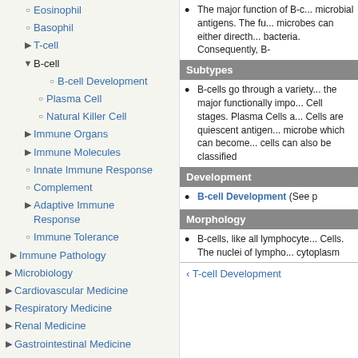Eosinophil
Basophil
T-cell
B-cell
B-cell Development
Plasma Cell
Natural Killer Cell
Immune Organs
Immune Molecules
Innate Immune Response
Complement
Adaptive Immune Response
Immune Tolerance
Immune Pathology
Microbiology
Cardiovascular Medicine
Respiratory Medicine
Renal Medicine
Gastrointestinal Medicine
Hepatology
Endocrinology
Hematology and Oncology
Dermatology
The major function of B-c... microbial antigens. The fu... microbes can either directh... bacteria. Consequently, B-
Subtypes
B-cells go through a variety... the major functionally impo... Cell stages. Plasma Cells a... Cells are quiescent antigen... microbe which can become... cells can also be classified
Development
B-cell Development (See p
Morphology
B-cells, like all lymphocyte... Cells. The nuclei of lympho... cytoplasm
< T-cell Development